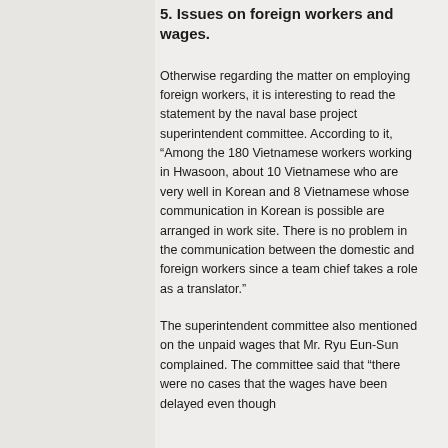5. Issues on foreign workers and wages.
Otherwise regarding the matter on employing foreign workers, it is interesting to read the statement by the naval base project superintendent committee. According to it, “Among the 180 Vietnamese workers working in Hwasoon, about 10 Vietnamese who are very well in Korean and 8 Vietnamese whose communication in Korean is possible are arranged in work site. There is no problem in the communication between the domestic and foreign workers since a team chief takes a role as a translator.”
The superintendent committee also mentioned on the unpaid wages that Mr. Ryu Eun-Sun complained. The committee said that “there were no cases that the wages have been delayed even though